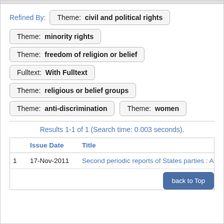Refined By:  Theme: civil and political rights
Theme: minority rights
Theme: freedom of religion or belief
Fulltext: With Fulltext
Theme: religious or belief groups
Theme: anti-discrimination   Theme: women
Results 1-1 of 1 (Search time: 0.003 seconds).
|  | Issue Date | Title |
| --- | --- | --- |
| 1 | 17-Nov-2011 | Second periodic reports of States parties : Alb |
back to Top